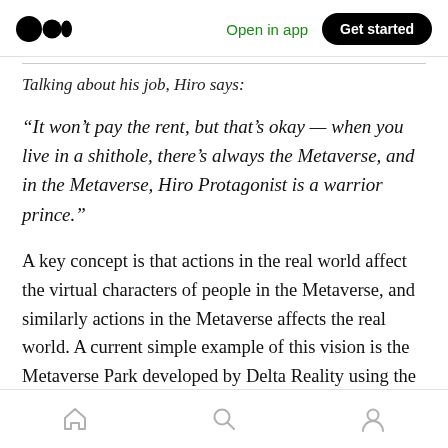Medium logo | Open in app | Get started
Talking about his job, Hiro says:
“It won’t pay the rent, but that’s okay — when you live in a shithole, there’s always the Metaverse, and in the Metaverse, Hiro Protagonist is a warrior prince.”
A key concept is that actions in the real world affect the virtual characters of people in the Metaverse, and similarly actions in the Metaverse affects the real world. A current simple example of this vision is the Metaverse Park developed by Delta Reality using the Niantic
Home | Search | Profile